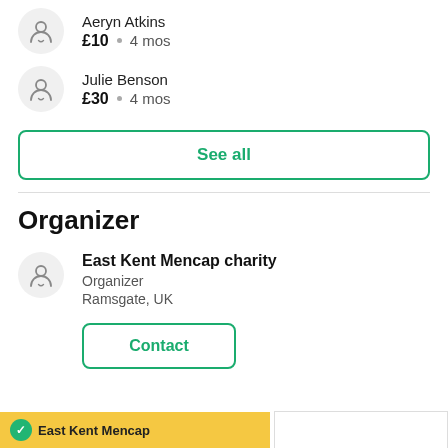Aeryn Atkins £10 • 4 mos
Julie Benson £30 • 4 mos
See all
Organizer
East Kent Mencap charity
Organizer
Ramsgate, UK
Contact
East Kenr Mencap